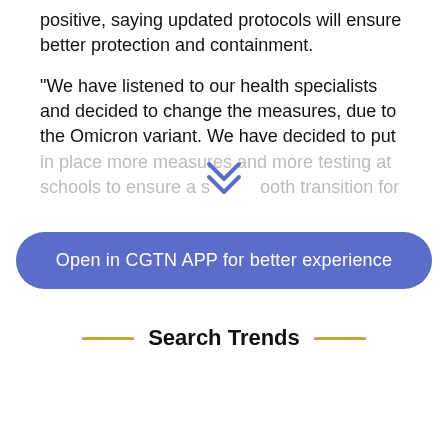positive, saying updated protocols will ensure better protection and containment.
"We have listened to our health specialists and decided to change the measures, due to the Omicron variant. We have decided to put in place more measures and more testing at schools to ensure a smooth transition for
Open in CGTN APP for better experience
Search Trends